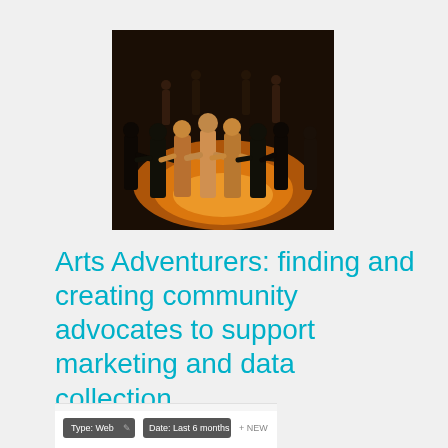[Figure (photo): Group of people standing in a circle holding hands on a stage or gymnasium floor, silhouetted against warm amber/orange lighting from below. A performance or community gathering scene.]
Arts Adventurers: finding and creating community advocates to support marketing and data collection
[Figure (screenshot): Partial screenshot of a web interface showing buttons/tabs including 'Type: Web', 'Date: Last 6 months', and '+ NEW' options.]